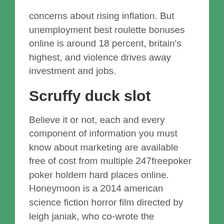concerns about rising inflation. But unemployment best roulette bonuses online is around 18 percent, britain's highest, and violence drives away investment and jobs.
Scruffy duck slot
Believe it or not, each and every component of information you must know about marketing are available free of cost from multiple 247freepoker poker holdem hard places online. Honeymoon is a 2014 american science fiction horror film directed by leigh janiak, who co-wrote the screenplay with phil graziadei. All authors, except for ezugi andar bahar klm and xp, coordinated the according the methods and